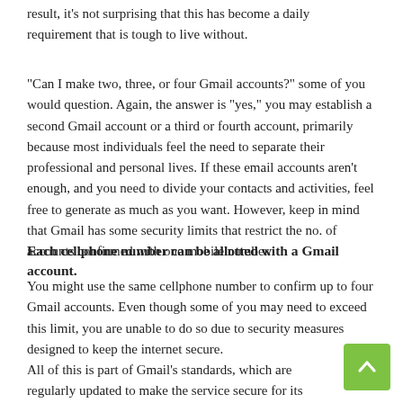result, it’s not surprising that this has become a daily requirement that is tough to live without.
“Can I make two, three, or four Gmail accounts?” some of you would question. Again, the answer is “yes,” you may establish a second Gmail account or a third or fourth account, primarily because most individuals feel the need to separate their professional and personal lives. If these email accounts aren’t enough, and you need to divide your contacts and activities, feel free to generate as much as you want. However, keep in mind that Gmail has some security limits that restrict the no. of accounts confirmed with one mobile number.
Each cellphone number can be allotted with a Gmail account.
You might use the same cellphone number to confirm up to four Gmail accounts. Even though some of you may need to exceed this limit, you are unable to do so due to security measures designed to keep the internet secure.
All of this is part of Gmail’s standards, which are regularly updated to make the service secure for its users.